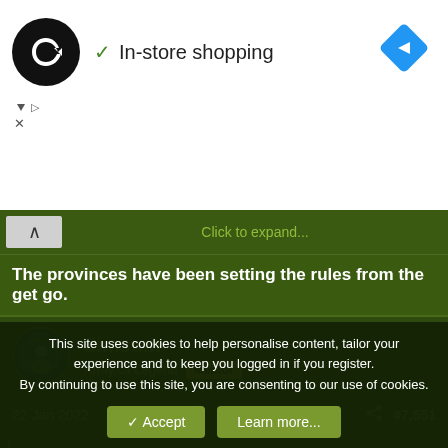[Figure (screenshot): Ad banner with loop-arrows logo circle, checkmark, 'In-store shopping' text, and blue navigation diamond icon]
Click to expand...
The provinces have been setting the rules from the get go.
dimsum
Army.ca Legend  Mentor
22 Jan 2022  #7,551
Quirky said:
Luckily this is what the provinces are doing despite the hysterical public minority. People by in large are fed up with this crap.
This site uses cookies to help personalise content, tailor your experience and to keep you logged in if you register.
By continuing to use this site, you are consenting to our use of cookies.